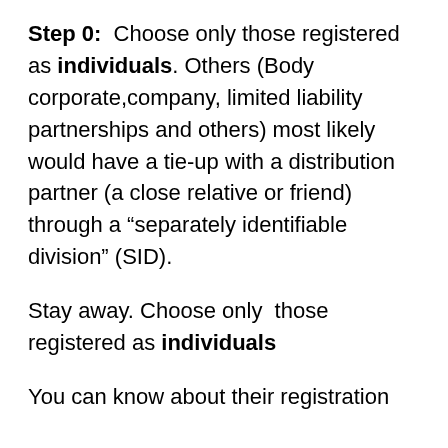Step 0: Choose only those registered as individuals. Others (Body corporate,company, limited liability partnerships and others) most likely would have a tie-up with a distribution partner (a close relative or friend) through a “separately identifiable division” (SID).
Stay away. Choose only those registered as individuals
You can know about their registration